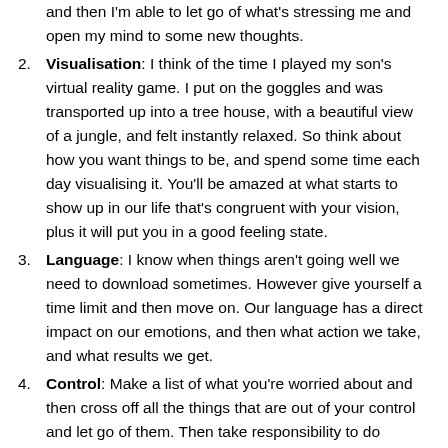and then I'm able to let go of what's stressing me and open my mind to some new thoughts.
Visualisation: I think of the time I played my son's virtual reality game. I put on the goggles and was transported up into a tree house, with a beautiful view of a jungle, and felt instantly relaxed. So think about how you want things to be, and spend some time each day visualising it. You'll be amazed at what starts to show up in our life that's congruent with your vision, plus it will put you in a good feeling state.
Language: I know when things aren't going well we need to download sometimes. However give yourself a time limit and then move on. Our language has a direct impact on our emotions, and then what action we take, and what results we get.
Control: Make a list of what you're worried about and then cross off all the things that are out of your control and let go of them. Then take responsibility to do something about what's left on the list – don't blame others, have a look at what you can do.